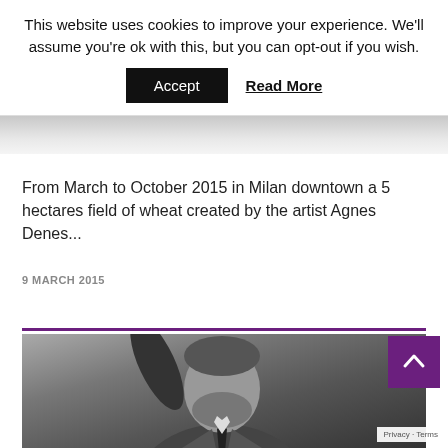This website uses cookies to improve your experience. We'll assume you're ok with this, but you can opt-out if you wish.
Accept   Read More
From March to October 2015 in Milan downtown a 5 hectares field of wheat created by the artist Agnes Denes...
9 MARCH 2015
[Figure (photo): Black and white photograph of a bearded man in a suit and tie, with arm raised]
Privacy · Terms